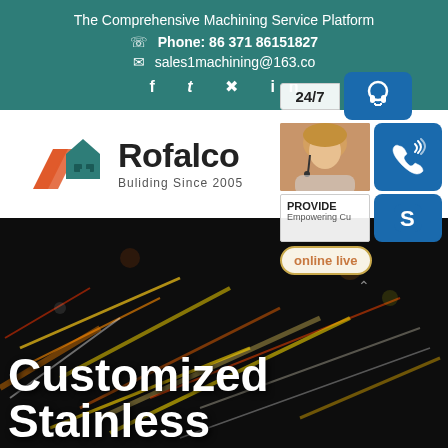The Comprehensive Machining Service Platform
Phone: 86 371 86151827
sales1machining@163.co
[Figure (logo): Rofalco logo with geometric house/roof icon in orange and teal, text 'Rofalco' and 'Buliding Since 2005']
[Figure (photo): Dark background with colorful bokeh light streaks (yellow, orange, red, white) suggesting nighttime industrial or urban scene]
Customized Stainless
[Figure (infographic): Floating sidebar with customer service widget showing '24/7' label, headset icon, phone icon, Skype icon, 'online live' button, and person wearing headset photo with 'PROVIDE Empowering Cu...' text]